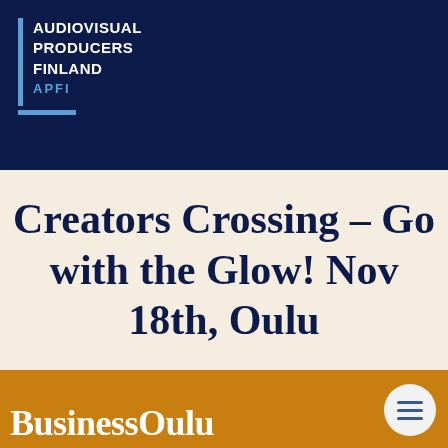[Figure (logo): Audiovisual Producers Finland APFI logo — white text with blue vertical bar and horizontal accent on dark navy background]
Creators Crossing – Go with the Glow! Nov 18th, Oulu
[Figure (photo): Orange-tinted photo of people with BusinessOulu text overlay and hamburger menu button]